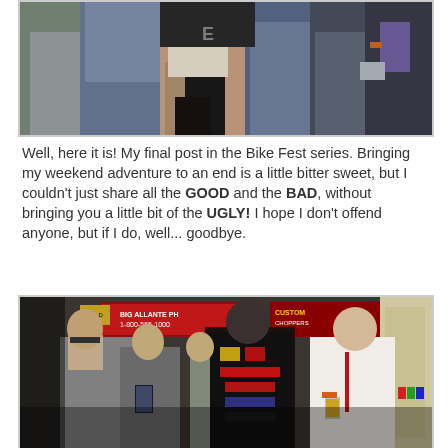[Figure (photo): A crowd of people at an outdoor event, showing legs and torsos in close proximity. One person appears to be wearing shorts or a short skirt with black boots, surrounded by others in jeans and dark clothing.]
Well, here it is! My final post in the Bike Fest series. Bringing my weekend adventure to an end is a little bitter sweet, but I couldn't just share all the GOOD and the BAD, without bringing you a little bit of the UGLY! I hope I don't offend anyone, but if I do, well... goodbye.
[Figure (photo): Indoor crowd scene at what appears to be a biker festival or event. Several people visible including a man in a black leather vest with patches facing away from camera, others holding drinks, with vendor signs visible in the background.]